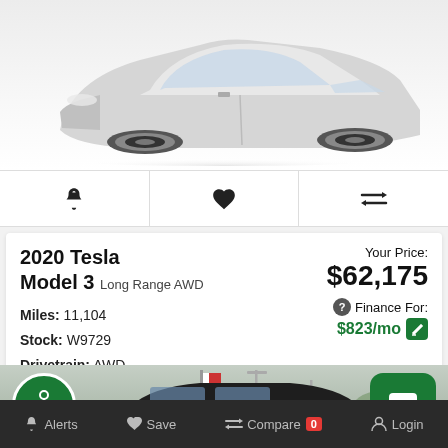[Figure (photo): Partial view of a white Tesla Model 3, cropped at the top showing the front and wheels on a white background.]
[Figure (screenshot): Icon toolbar with three icons: bell (Alerts), heart (Save/Favorite), and compare arrows (Compare).]
2020 Tesla Model 3 Long Range AWD
Miles: 11,104
Stock: W9729
Drivetrain: AWD
Your Price:
$62,175
Finance For:
$823/mo
[Figure (photo): Partial view of a dark SUV at a car dealership lot with trees and a flag in the background.]
Alerts   Save   Compare 0   Login